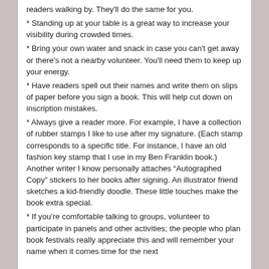readers walking by. They'll do the same for you.
* Standing up at your table is a great way to increase your visibility during crowded times.
* Bring your own water and snack in case you can't get away or there's not a nearby volunteer. You'll need them to keep up your energy.
* Have readers spell out their names and write them on slips of paper before you sign a book. This will help cut down on inscription mistakes.
* Always give a reader more. For example, I have a collection of rubber stamps I like to use after my signature. (Each stamp corresponds to a specific title. For instance, I have an old fashion key stamp that I use in my Ben Franklin book.) Another writer I know personally attaches “Autographed Copy” stickers to her books after signing. An illustrator friend sketches a kid-friendly doodle. These little touches make the book extra special.
* If you’re comfortable talking to groups, volunteer to participate in panels and other activities; the people who plan book festivals really appreciate this and will remember your name when it comes time for the next